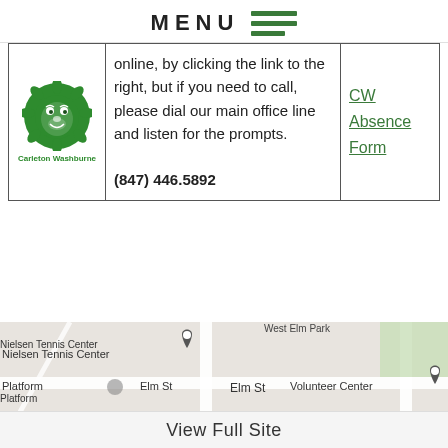MENU
| Logo | Content | Link |
| --- | --- | --- |
| Carleton Washburne logo | online, by clicking the link to the right, but if you need to call, please dial our main office line and listen for the prompts. (847) 446.5892 | CW Absence Form |
[Figure (map): Google Maps snippet showing Nielsen Tennis Center, Elm St, Volunteer Center, West Elm Park area]
View Full Site